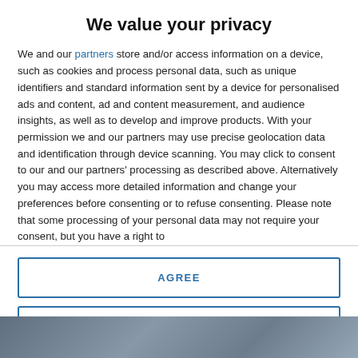We value your privacy
We and our partners store and/or access information on a device, such as cookies and process personal data, such as unique identifiers and standard information sent by a device for personalised ads and content, ad and content measurement, and audience insights, as well as to develop and improve products. With your permission we and our partners may use precise geolocation data and identification through device scanning. You may click to consent to our and our partners' processing as described above. Alternatively you may access more detailed information and change your preferences before consenting or to refuse consenting. Please note that some processing of your personal data may not require your consent, but you have a right to
AGREE
MORE OPTIONS
[Figure (photo): Partial background photo visible at bottom of page]